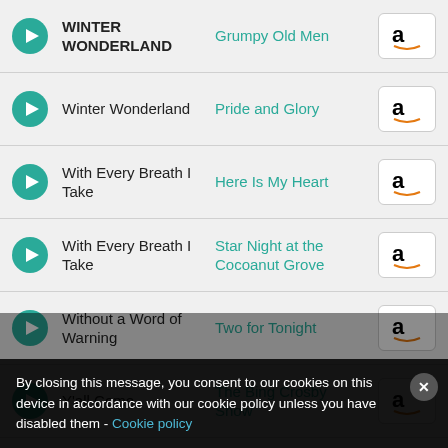WINTER WONDERLAND | Grumpy Old Men
Winter Wonderland | Pride and Glory
With Every Breath I Take | Here Is My Heart
With Every Breath I Take | Star Night at the Cocoanut Grove
Without a Word of Warning | Two for Tonight
Y'all Come | The Bing Crosby Show
You are my | Hotel Lux
You Are My Sunshine | Rosemary Clooney: Singing at Her Best
By closing this message, you consent to our cookies on this device in accordance with our cookie policy unless you have disabled them - Cookie policy